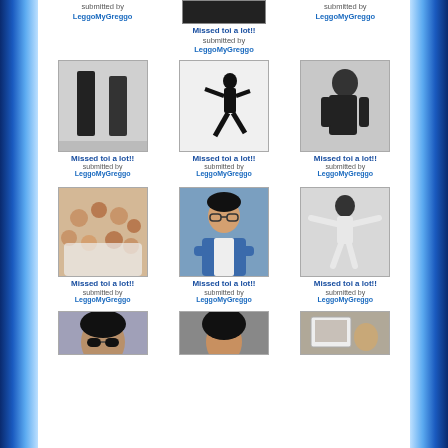[Figure (photo): Partial photo at top, dark image]
Missed toi a lot!!
submitted by
LeggoMyGreggo
submitted by
LeggoMyGreggo
[Figure (photo): Two people facing each other, black and white]
Missed toi a lot!!
submitted by
LeggoMyGreggo
[Figure (photo): Silhouette dancing, black and white]
Missed toi a lot!!
submitted by
LeggoMyGreggo
[Figure (photo): Person in dark outfit, black and white]
Missed toi a lot!!
submitted by
LeggoMyGreggo
[Figure (photo): Group of children in white]
Missed toi a lot!!
submitted by
LeggoMyGreggo
[Figure (photo): Portrait with glasses, blue jacket]
Missed toi a lot!!
submitted by
LeggoMyGreggo
[Figure (photo): Person performing, arms outstretched, black and white]
Missed toi a lot!!
submitted by
LeggoMyGreggo
[Figure (photo): Partial photo bottom left, close-up with sunglasses]
[Figure (photo): Partial photo bottom center, dark curly hair]
[Figure (photo): Partial photo bottom right, person holding photo]